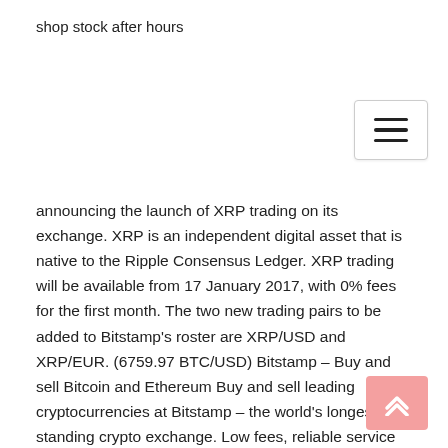shop stock after hours
announcing the launch of XRP trading on its exchange. XRP is an independent digital asset that is native to the Ripple Consensus Ledger. XRP trading will be available from 17 January 2017, with 0% fees for the first month. The two new trading pairs to be added to Bitstamp’s roster are XRP/USD and XRP/EUR. (6759.97 BTC/USD) Bitstamp – Buy and sell Bitcoin and Ethereum Buy and sell leading cryptocurrencies at Bitstamp – the world's longest-standing crypto exchange. Low fees, reliable service and simple setup. Open a free account. Bitstamp Review (2020 Updated) - Here's My Personal ... 1. Bitstamp Overview. Bitstamp was founded in 2011 by Nejc Kodrič and Damijan Merlak in Slovenia. It was one of the first exchanges originally created to trade Bitcoin as a competitor to the then-popular Mt.Gox. Later on, the exchange moved to the UK (2013) and then Luxemburg (2016).